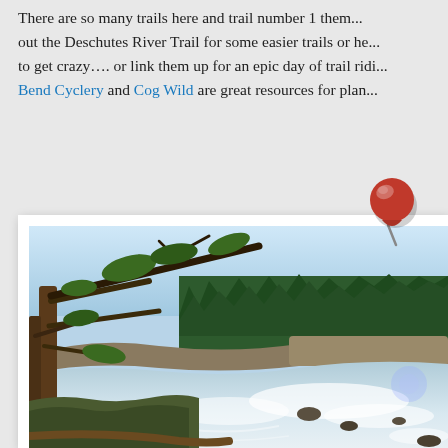There are so many trails here and trail number 1 them... out the Deschutes River Trail for some easier trails or he... to get crazy…. or link them up for an epic day of trail ridi... Bend Cyclery and Cog Wild are great resources for plan...
[Figure (photo): Outdoor nature photo of the Deschutes River with ponderosa pine trees in the foreground, a rushing rocky river in the middle, and a dense evergreen forest on the far bank under a clear blue sky. Photo is framed with a white border and pinned with a red pushpin.]